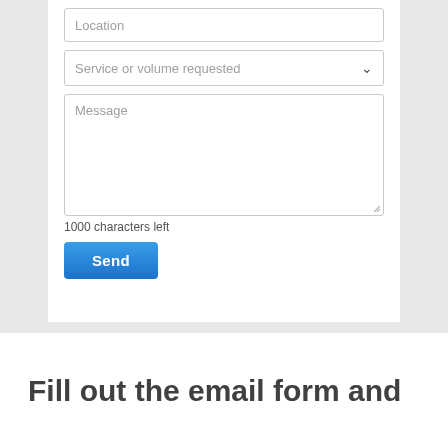[Figure (screenshot): Web form with Location input field, Service or volume requested dropdown, Message textarea, 1000 characters left counter, and Send button, shown on a light gray background]
1000 characters left
Send
Fill out the email form and